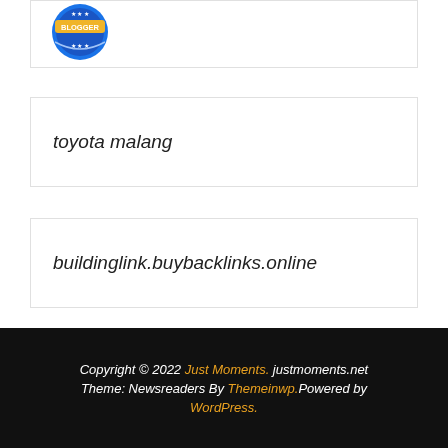[Figure (logo): Blogger badge logo with blue circular border, stars, and yellow banner reading BLOGGER]
toyota malang
buildinglink.buybacklinks.online
Copyright © 2022 Just Moments. justmoments.net Theme: Newsreaders By Themeinwp.Powered by WordPress.